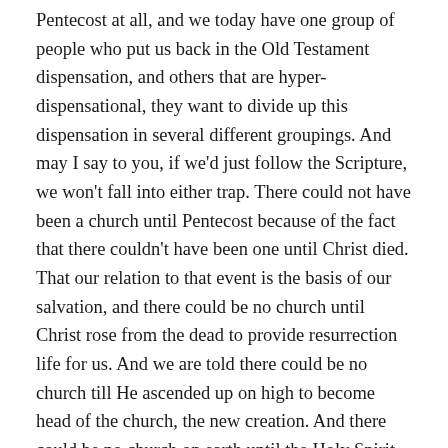Pentecost at all, and we today have one group of people who put us back in the Old Testament dispensation, and others that are hyper-dispensational, they want to divide up this dispensation in several different groupings. And may I say to you, if we'd just follow the Scripture, we won't fall into either trap. There could not have been a church until Pentecost because of the fact that there couldn't have been one until Christ died. That our relation to that event is the basis of our salvation, and there could be no church until Christ rose from the dead to provide resurrection life for us. And we are told there could be no church till He ascended up on high to become head of the church, the new creation. And there could be no church on earth until the Holy Spirit came in a ministry to call out the church, which He did on the Day of Pentecost. So there could have been no church. The law actually was temporary. We are told in Galatians 3:19, 'Wherefore then serveth the law? It was added because of transgression till the seed should come until the promise was made, to whom the promise was made.' May I say to you, it was